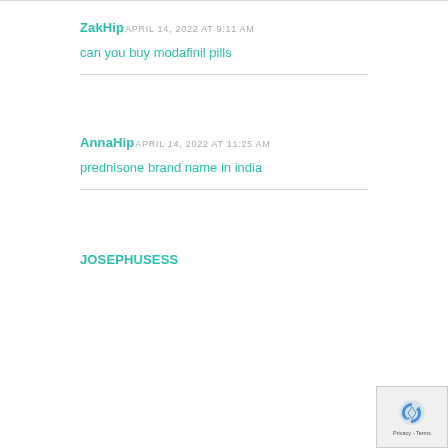ZakHip APRIL 14, 2022 AT 9:11 AM
can you buy modafinil pills
AnnaHip APRIL 14, 2022 AT 11:25 AM
prednisone brand name in india
JOSEPHUSESS